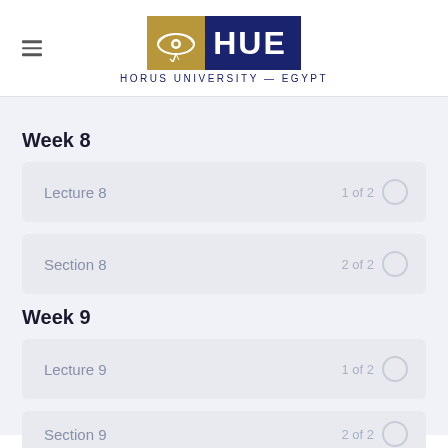HUE — HORUS UNIVERSITY — EGYPT
Week 8
Lecture 8   1 of 2
Section 8   2 of 2
Week 9
Lecture 9   1 of 2
Section 9   2 of 2